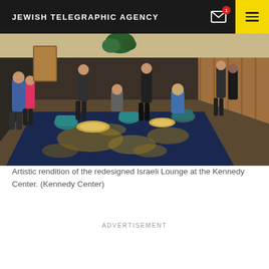JEWISH TELEGRAPHIC AGENCY
[Figure (photo): Artistic rendition of the redesigned Israeli Lounge at the Kennedy Center, showing people in a modern lounge space with teal chairs, sculptural coffee tables, and a patterned blue and gold rug.]
Artistic rendition of the redesigned Israeli Lounge at the Kennedy Center. (Kennedy Center)
ADVERTISEMENT